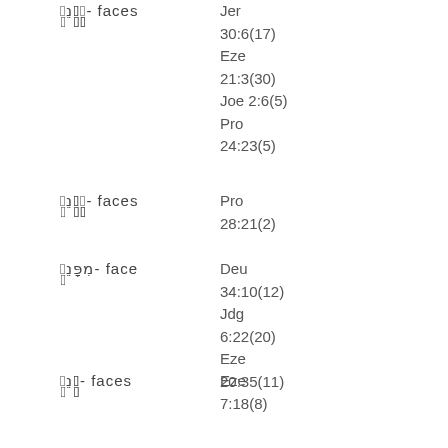פְנֵי- faces — Jer 30:6(17) Eze 21:3(30) Joe 2:6(5) Pro 24:23(5)
פְנֵי- faces — Pro 28:21(2)
פְנֵי- face — Deu 34:10(12) Jdg 6:22(20) Eze 20:35(11)
פְנֵי- faces — Eze 7:18(8)
פְנֵי faces — Jer 32:33(5)
פְנֵי their face — Jer 2:27(13)